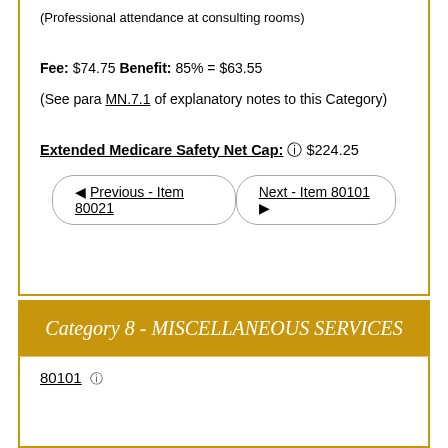(Professional attendance at consulting rooms)
Fee: $74.75 Benefit: 85% = $63.55
(See para MN.7.1 of explanatory notes to this Category)
Extended Medicare Safety Net Cap: ⓘ $224.25
◀ Previous - Item 80021
Next - Item 80101 ▶
Category 8 - MISCELLANEOUS SERVICES
80101 ⓘ